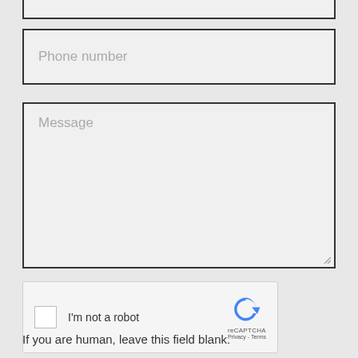[Figure (screenshot): Partial form field at top of page (cut off)]
Phone number
Message
[Figure (other): reCAPTCHA widget with checkbox, 'I'm not a robot' label, reCAPTCHA logo, Privacy and Terms links]
SEND
If you are human, leave this field blank.